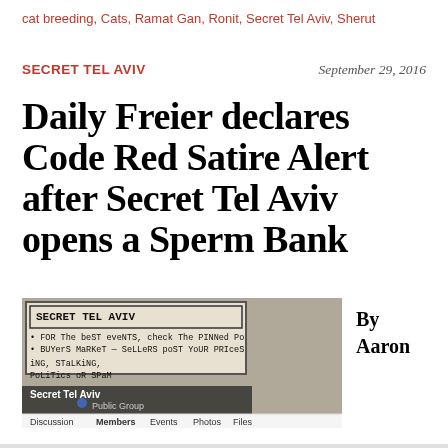cat breeding, Cats, Ramat Gan, Ronit, Secret Tel Aviv, Sherut
SECRET TEL AVIV
September 29, 2016
Daily Freier declares Code Red Satire Alert after Secret Tel Aviv opens a Sperm Bank
[Figure (screenshot): Screenshot of Secret Tel Aviv Facebook group page showing handwritten rules on paper, with navigation tabs Discussion, Members, Events, Photos, Files. Text on paper reads: FOR THE BEST EVENTS, check the PINNED Po; BUYERS MARKET - SELLERS POST YOUR PRICES; Secret Tel Aviv; Public Group; .ING, STALKING, POLITICS OR SPAM]
By Aaron